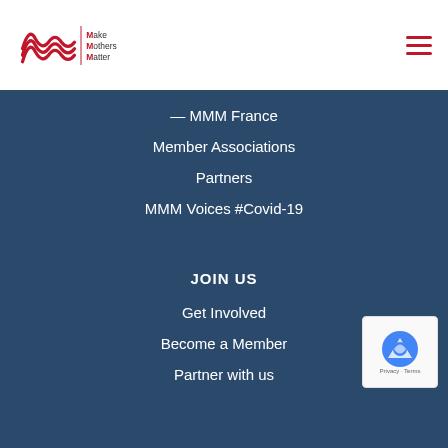[Figure (logo): Make Mothers Matter logo — stylized red M waves with text]
— MMM France
Member Associations
Partners
MMM Voices #Covid-19
JOIN US
Get Involved
Become a Member
Partner with us
MAKE MOTHERS MATTER